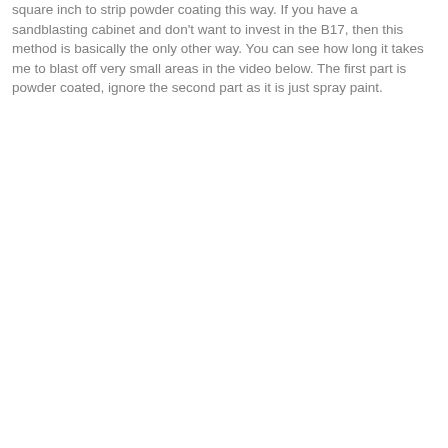square inch to strip powder coating this way. If you have a sandblasting cabinet and don't want to invest in the B17, then this method is basically the only other way. You can see how long it takes me to blast off very small areas in the video below. The first part is powder coated, ignore the second part as it is just spray paint.